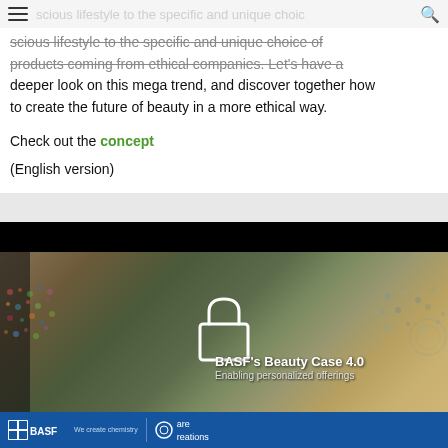...scious lifestyle to the specific and unique choice of products coming from ethical companies. Let's have a deeper look on this mega trend, and discover together how to create the future of beauty in a more ethical way.
Check out the concept
(English version)
[Figure (screenshot): A screenshot of a webpage showing BASF's Beauty Case 4.0 — Enabling personalized offerings. Features a woman with sunglasses and a lock icon overlay, with BASF and Care Creations logos at the bottom.]